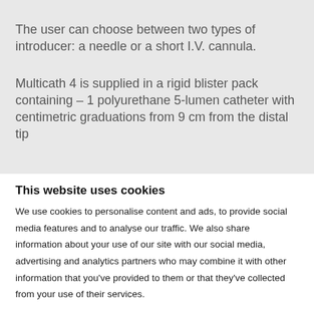The user can choose between two types of introducer: a needle or a short I.V. cannula.
Multicath 4 is supplied in a rigid blister pack containing – 1 polyurethane 5-lumen catheter with centimetric graduations from 9 cm from the distal tip
This website uses cookies
We use cookies to personalise content and ads, to provide social media features and to analyse our traffic. We also share information about your use of our site with our social media, advertising and analytics partners who may combine it with other information that you've provided to them or that they've collected from your use of their services.
Find out more on our Cookie Notice page here.